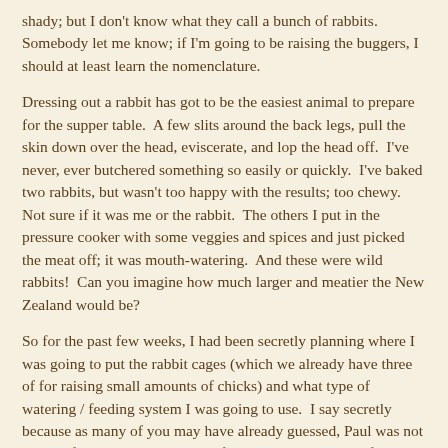shady; but I don't know what they call a bunch of rabbits. Somebody let me know; if I'm going to be raising the buggers, I should at least learn the nomenclature.
Dressing out a rabbit has got to be the easiest animal to prepare for the supper table.  A few slits around the back legs, pull the skin down over the head, eviscerate, and lop the head off.  I've never, ever butchered something so easily or quickly.  I've baked two rabbits, but wasn't too happy with the results; too chewy.  Not sure if it was me or the rabbit.  The others I put in the pressure cooker with some veggies and spices and just picked the meat off; it was mouth-watering.  And these were wild rabbits!  Can you imagine how much larger and meatier the New Zealand would be?
So for the past few weeks, I had been secretly planning where I was going to put the rabbit cages (which we already have three of for raising small amounts of chicks) and what type of watering / feeding system I was going to use.  I say secretly because as many of you may have already guessed, Paul was not aware of my scheming or he'd of nipped it in the bud before I got the words, “I've been thinking about getting some Rabb…..” out of my mouth.